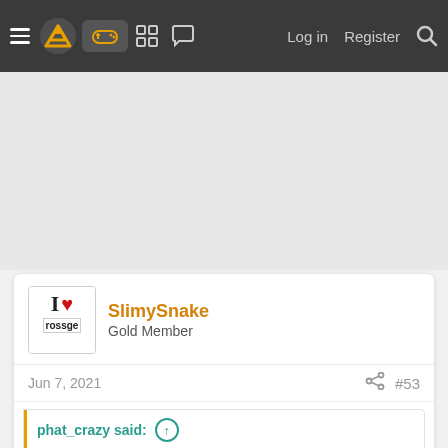Navigation bar with hamburger menu, Cove logo, gaming controller icon (active), forum icons, Log in, Register, Search
[Figure (other): Advertisement / banner area (gray placeholder)]
SlimySnake
Gold Member
Jun 7, 2021  #53
phat_crazy said: ↑

Highly doubt Sony has nothing in store for 2023. The PS5 is the easiest PS console to develop for, and is very similar to the PS4 structure. Sony and their devs stated expect shorter development cycles due to this. I can see Spiderman 2 dropping 2023 considering it is Insomniac, Sony's fastest making studio. Didn't they make Ratchet and Clank in 2 years? ND should have a new